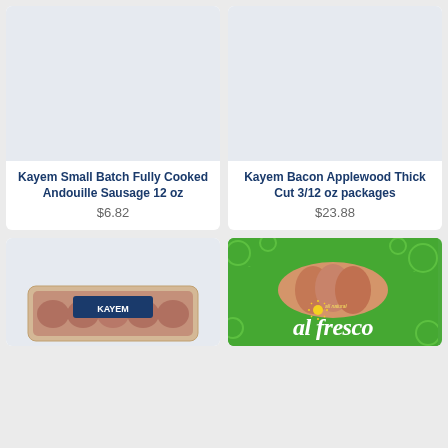[Figure (photo): Product image placeholder for Kayem Small Batch Fully Cooked Andouille Sausage 12 oz - light blue/grey empty product image area]
Kayem Small Batch Fully Cooked Andouille Sausage 12 oz
$6.82
[Figure (photo): Product image placeholder for Kayem Bacon Applewood Thick Cut 3/12 oz packages - light blue/grey empty product image area]
Kayem Bacon Applewood Thick Cut 3/12 oz packages
$23.88
[Figure (photo): Partial product image of Kayem branded meat package, partially cut off at bottom of page]
[Figure (photo): Partial product image of al fresco branded sausage in green packaging with all natural sun logo, partially cut off at bottom of page]